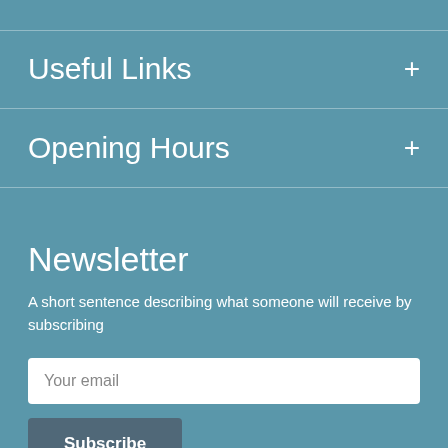Useful Links
Opening Hours
Newsletter
A short sentence describing what someone will receive by subscribing
Your email
Subscribe